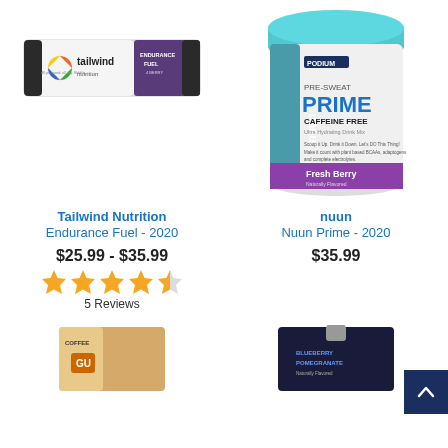[Figure (photo): Tailwind Nutrition Endurance Fuel bar packet, white and purple packaging]
[Figure (photo): Nuun Prime pre-sweat supplement tub, teal lid, Fresh Berry flavor, white container with purple label]
Tailwind Nutrition
Endurance Fuel - 2020
$25.99 - $35.99
[Figure (other): 4.5 out of 5 stars rating (orange stars)]
5 Reviews
nuun
Nuun Prime - 2020
$35.99
[Figure (photo): GU Energy gel packet, coffee flavor, tan/beige packaging]
[Figure (photo): Blueberry Pomegranate flavored gel/food pouch, dark navy packaging]